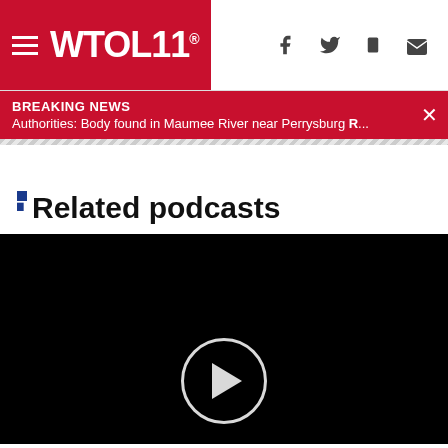WTOL 11 - Navigation header with hamburger menu, logo, and social icons
BREAKING NEWS
Authorities: Body found in Maumee River near Perrysburg R...
Related podcasts
[Figure (other): Black video player area with circular play button at bottom center]